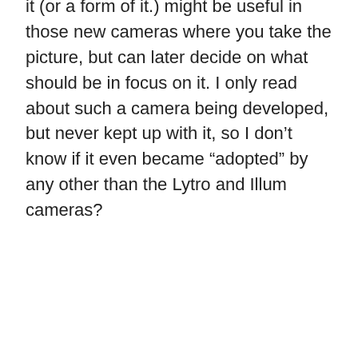it (or a form of it.) might be useful in those new cameras where you take the picture, but can later decide on what should be in focus on it. I only read about such a camera being developed, but never kept up with it, so I don't know if it even became “adopted” by any other than the Lytro and Illum cameras?
Reply
jaapv on March 19, 2018 at 3:14 am
Somehow it is missed here that DNG files come in flavours: Uncompressed, losslessly compressed and lossy